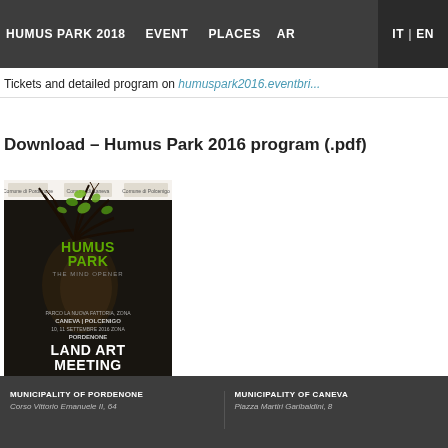HUMUS PARK 2018   EVENT   PLACES   AR
Tickets and detailed program on humuspark2016.eventbri...
IT | EN
Download – Humus Park 2016 program (.pdf)
[Figure (illustration): Humus Park 2016 Land Art Meeting event poster featuring a woman's profile with tree branches for hair, green leaves, and text reading HUMUS PARK THE MIND OPENER and LAND ART MEETING, with sponsor logos at top and bottom.]
MUNICIPALITY OF PORDENONE
Corso Vittorio Emanuele II, 64
MUNICIPALITY OF CANEVA
Piazza Martiri Garibaldini, 8